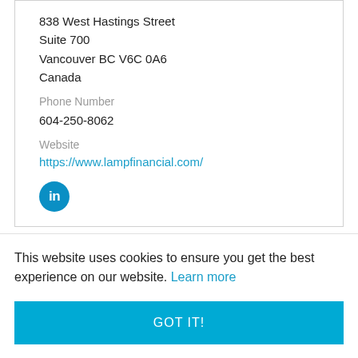838 West Hastings Street
Suite 700
Vancouver BC V6C 0A6
Canada
Phone Number
604-250-8062
Website
https://www.lampfinancial.com/
[Figure (logo): LinkedIn circular icon with 'in' text in white on teal/blue background]
This website uses cookies to ensure you get the best experience on our website. Learn more
GOT IT!